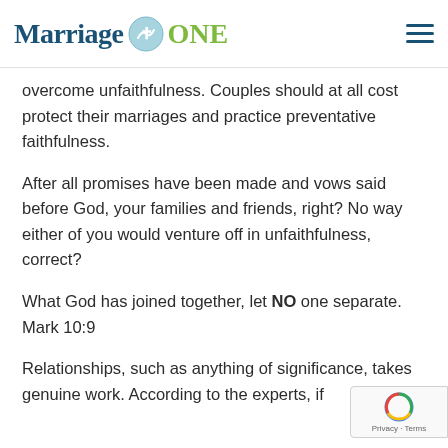Marriage ONE
overcome unfaithfulness. Couples should at all cost protect their marriages and practice preventative faithfulness.
After all promises have been made and vows said before God, your families and friends, right? No way either of you would venture off in unfaithfulness, correct?
What God has joined together, let NO one separate. Mark 10:9
Relationships, such as anything of significance, takes genuine work. According to the experts, if